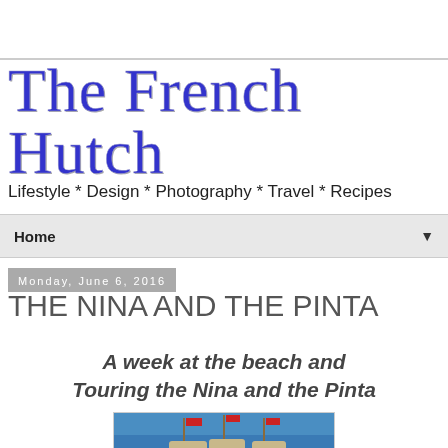The French Hutch
Lifestyle * Design * Photography * Travel * Recipes
Home ▼
Monday, June 6, 2016
THE NINA AND THE PINTA
A week at the beach and Touring the Nina and the Pinta
[Figure (photo): Photo of sailing ships (the Nina and Pinta replicas) on blue water under a blue sky with flags visible]